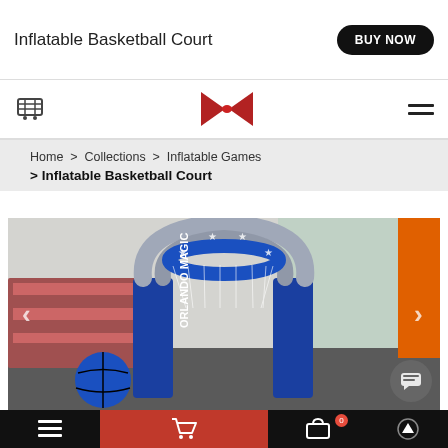Inflatable Basketball Court
BUY NOW
Home > Collections > Inflatable Games > Inflatable Basketball Court
[Figure (photo): Inflatable basketball hoop court structure branded 'Orlando Magic' in blue and silver colors, shown in warehouse/factory setting with a blue basketball on ground.]
Bottom navigation bar with menu, cart, bag (0), and up arrow icons